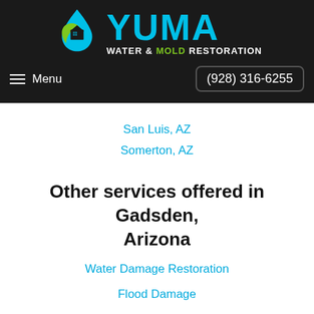[Figure (logo): Yuma Water & Mold Restoration logo with blue water drop, green leaf, and house icon, plus cyan YUMA text and white/green tagline]
≡ Menu   (928) 316-6255
San Luis, AZ
Somerton, AZ
Other services offered in Gadsden, Arizona
Water Damage Restoration
Flood Damage